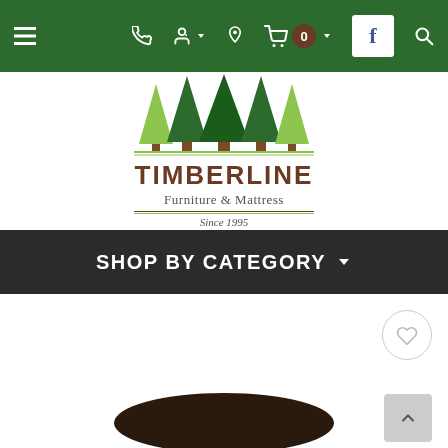[Figure (screenshot): Timberline Furniture & Mattress website navigation bar with hamburger menu, phone icon, user icon, location icon, cart with 0 items, Facebook icon, and search icon on a dark green background]
[Figure (logo): Timberline Furniture & Mattress logo with green pine trees illustration above text reading TIMBERLINE Furniture & Mattress Since 1995]
SHOP BY CATEGORY
[Figure (photo): Product image showing the top of a dark brown round table partially visible at the bottom of the page, with a heart/wishlist button and scroll-to-top button]